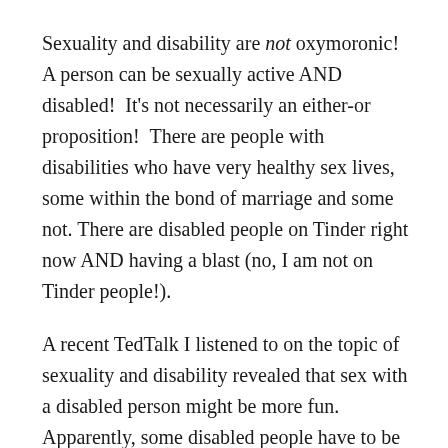Sexuality and disability are not oxymoronic! A person can be sexually active AND disabled!  It's not necessarily an either-or proposition!  There are people with disabilities who have very healthy sex lives, some within the bond of marriage and some not. There are disabled people on Tinder right now AND having a blast (no, I am not on Tinder people!).
A recent TedTalk I listened to on the topic of sexuality and disability revealed that sex with a disabled person might be more fun. Apparently, some disabled people have to be creative sexually due to their perceived limitations!  I'll leave that to your imagination.  Brings a